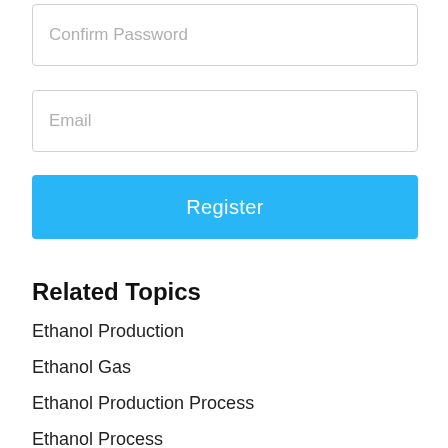Confirm Password
Email
Register
Related Topics
Ethanol Production
Ethanol Gas
Ethanol Production Process
Ethanol Process
Green Ethanol